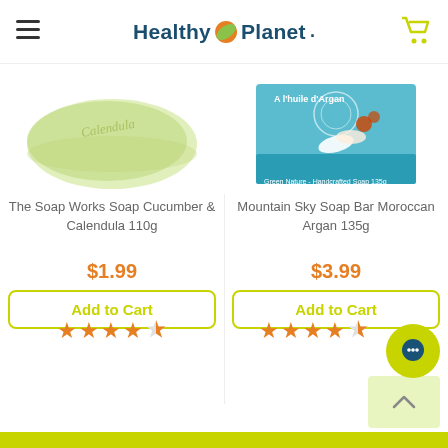Healthy Planet
[Figure (photo): Soap product image: The Soap Works Soap Cucumber & Calendula 110g - light green bar of soap partially visible]
The Soap Works Soap Cucumber & Calendula 110g
$1.99
Add to Cart
[Figure (other): 4.5 star rating shown in orange stars]
[Figure (photo): Soap product image: Mountain Sky Soap Bar Moroccan Argan 135g - teal/blue box with flower imagery]
Mountain Sky Soap Bar Moroccan Argan 135g
$3.99
Add to Cart
[Figure (other): 4.5 star rating shown in orange stars]